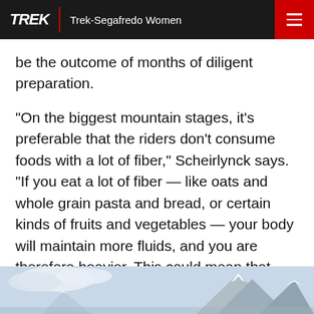TREK | Trek-Segafredo Women
be the outcome of months of diligent preparation.
“On the biggest mountain stages, it’s preferable that the riders don’t consume foods with a lot of fiber,” Scheirlynck says. “If you eat a lot of fiber — like oats and whole grain pasta and bread, or certain kinds of fruits and vegetables — your body will maintain more fluids, and you are therefore heavier. This could mean that you’ve been working 12 weeks to get to your perfect race weight, and then the evening before a mountain stage, you gain two kilos.”
[Figure (photo): Snowy mountain landscape visible at the bottom of the page]